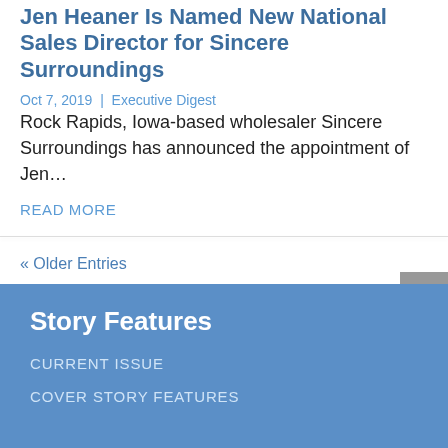Jen Heaner Is Named New National Sales Director for Sincere Surroundings
Oct 7, 2019 | Executive Digest
Rock Rapids, Iowa-based wholesaler Sincere Surroundings has announced the appointment of Jen…
READ MORE
« Older Entries
Story Features
CURRENT ISSUE
COVER STORY FEATURES